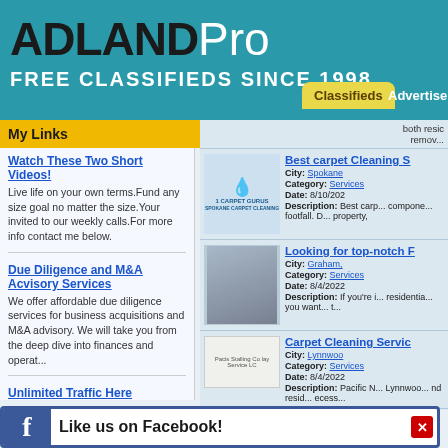ADLANDPro FREE CLASSIFIEDS SINCE 1998
My Links
X
Watch These Two Short Videos! — Live life on your own terms.Fund any size goal no matter the size.Your invited to our weekly calls.For more info contact me below.
Due Diligence and M&A Acvisory Services — We offer affordable due diligence services for business acquisitions and M&A advisory. We will take you from the deep dive into finances and operat...
Unlimited Traffic Here — Quality traffic to your websitesWith FREE Viral...der systemClick li...esssteve
both resic remov...
Best carpet Cleaning S
City: Spokane
Category: Services
Date: 8/10/202
Description: Best carp... compone... footfall. D... property,
Looking for top-notch F
City: Graham,
Category: Services
Date: 8/4/2022
Description: If you're i... residentia... you want... t...
Carpet Cleaning Servic
City: Lynnwoo
Category: Services
Date: 8/4/2022
Description: Pacific N... Lynnwoo... nd resid... ecess...
Like us on Facebook!